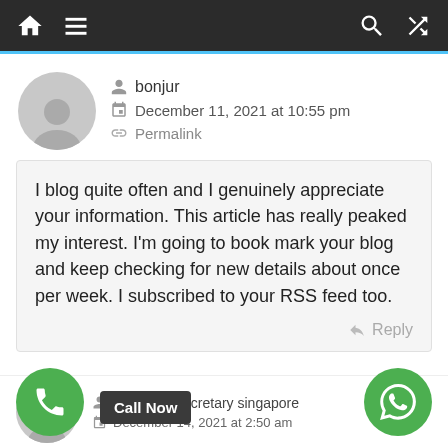[Figure (screenshot): Dark navigation bar with home icon, hamburger menu, search icon, and shuffle icon on white background with blue top border]
bonjur
December 11, 2021 at 10:55 pm
Permalink
I blog quite often and I genuinely appreciate your information. This article has really peaked my interest. I’m going to book mark your blog and keep checking for new details about once per week. I subscribed to your RSS feed too.
Reply
corporate secretary singapore
December 14, 2021 at 2:50 am
Call Now